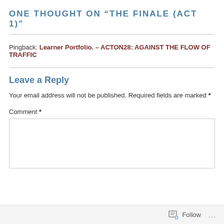ONE THOUGHT ON “THE FINALE (ACT 1)”
Pingback: Learner Portfolio. – ACTON28: AGAINST THE FLOW OF TRAFFIC
Leave a Reply
Your email address will not be published. Required fields are marked *
Comment *
Follow ...